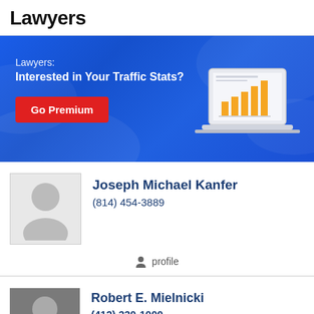Lawyers
[Figure (infographic): Blue banner advertisement: 'Lawyers: Interested in Your Traffic Stats?' with a red 'Go Premium' button and an illustration of a laptop with a bar chart (orange bars) on screen.]
Joseph Michael Kanfer
(814) 454-3889
profile
Robert E. Mielnicki
(412) 330-1000
Duquesne University School of Law